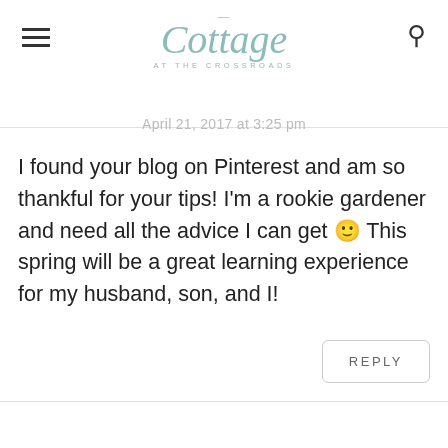Cottage at the Crossroads
April 21, 2017 at 3:25 pm
I found your blog on Pinterest and am so thankful for your tips! I'm a rookie gardener and need all the advice I can get 🙂 This spring will be a great learning experience for my husband, son, and I!
REPLY